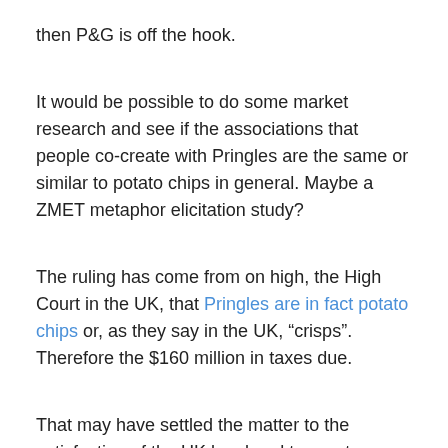then P&G is off the hook.
It would be possible to do some market research and see if the associations that people co-create with Pringles are the same or similar to potato chips in general.  Maybe a ZMET metaphor elicitation study?
The ruling has come from on high, the High Court in the UK, that Pringles are in fact potato chips or, as they say in the UK, “crisps”.  Therefore the $160 million in taxes due.
That may have settled the matter to the satisfaction of the UK legal and tax system.  But I, for one, will still mull this philosophical question, particularly when I’m on that post-midnight insomnia snack raid…
Share this: